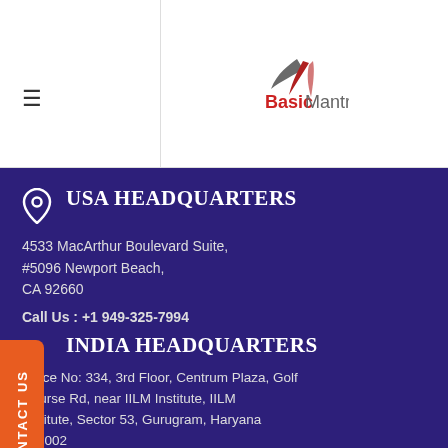[Figure (logo): BasicMantra logo with stylized leaf/wing icon in grey and red, and text 'Basic' in red bold and 'Mantra' in grey]
USA HEADQUARTERS
4533 MacArthur Boulevard Suite, #5096 Newport Beach, CA 92660
Call Us : +1 949-325-7994
INDIA HEADQUARTERS
Office No: 334, 3rd Floor, Centrum Plaza, Golf Course Rd, near IILM Institute, IILM Institute, Sector 53, Gurugram, Haryana 122002
Call Us: +91 9650660644